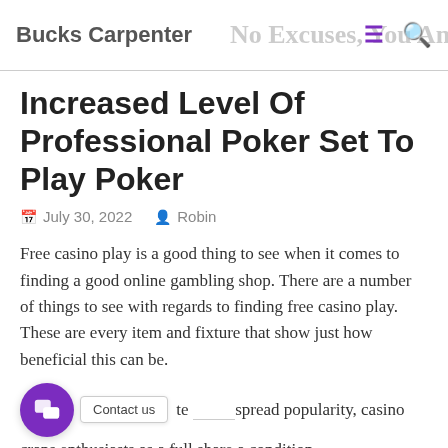Bucks Carpenter | No Excuses, You An
Increased Level Of Professional Poker Set To Play Poker
July 30, 2022  Robin
Free casino play is a good thing to see when it comes to finding a good online gambling shop. There are a number of things to see with regards to finding free casino play. These are every item and fixture that show just how beneficial this can be.
...te ...spread popularity, casino craps enthusiasts as a full share a condition.